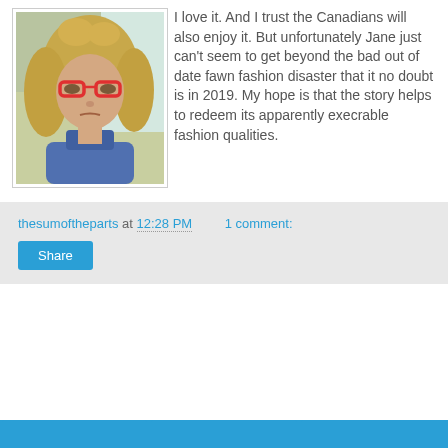[Figure (photo): Woman with curly blonde hair wearing red cat-eye glasses and a blue sweater, photographed indoors near a window.]
I love it. And I trust the Canadians will also enjoy it. But unfortunately Jane just can't seem to get beyond the bad out of date fawn fashion disaster that it no doubt is in 2019. My hope is that the story helps to redeem its apparently execrable fashion qualities.
thesumoftheparts at 12:28 PM    1 comment:
Share